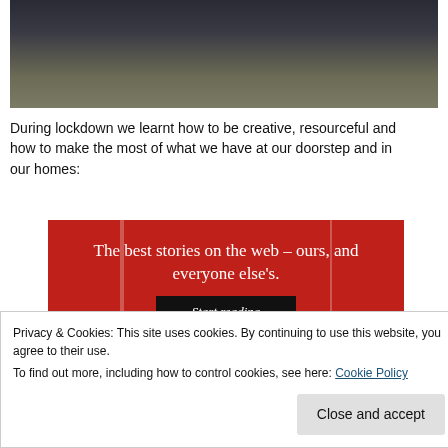[Figure (photo): Cropped photo showing the lower body/legs of a person walking, wearing dark jeans, against a weathered stone or concrete wall background.]
During lockdown we learnt how to be creative, resourceful and how to make the most of what we have at our doorstep and in our homes:
[Figure (illustration): Red advertisement banner with white serif text reading 'The best stories on the web – ours, and everyone else's.' with a black 'Start reading' button below.]
Privacy & Cookies: This site uses cookies. By continuing to use this website, you agree to their use.
To find out more, including how to control cookies, see here: Cookie Policy